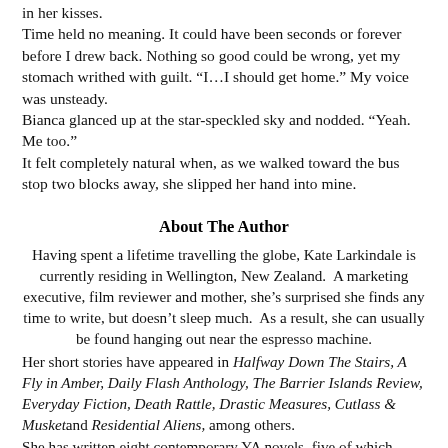in her kisses.
Time held no meaning. It could have been seconds or forever before I drew back. Nothing so good could be wrong, yet my stomach writhed with guilt. “I…I should get home.” My voice was unsteady.
Bianca glanced up at the star-speckled sky and nodded. “Yeah. Me too.”
It felt completely natural when, as we walked toward the bus stop two blocks away, she slipped her hand into mine.
About The Author
Having spent a lifetime travelling the globe, Kate Larkindale is currently residing in Wellington, New Zealand.  A marketing executive, film reviewer and mother, she’s surprised she finds any time to write, but doesn’t sleep much.  As a result, she can usually be found hanging out near the espresso machine.
Her short stories have appeared in Halfway Down The Stairs, A Fly in Amber, Daily Flash Anthology, The Barrier Islands Review, Everyday Fiction, Death Rattle, Drastic Measures, Cutlass & Musket and Residential Aliens, among others.
She has written eight contemporary YA novels, five of which other people are allowed to see.  She has also written one very bad